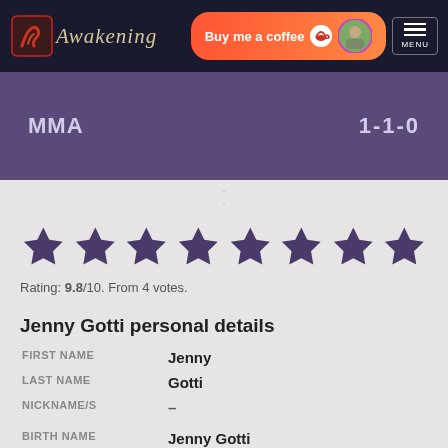[Figure (logo): Awakening MMA website navigation bar with logo, Buy me a coffee button, and menu button]
MMA   1-1-0
[Figure (infographic): Star rating display showing 10 filled purple stars]
Rating: 9.8/10. From 4 votes.
Jenny Gotti personal details
| FIRST NAME | Jenny |
| LAST NAME | Gotti |
| NICKNAME/S | – |
| BIRTH NAME | Jenny Gotti |
| AGE | – |
| DATE OF BIRTH |  |
| BORN | Campinas, Sao Paulo, Brazil |